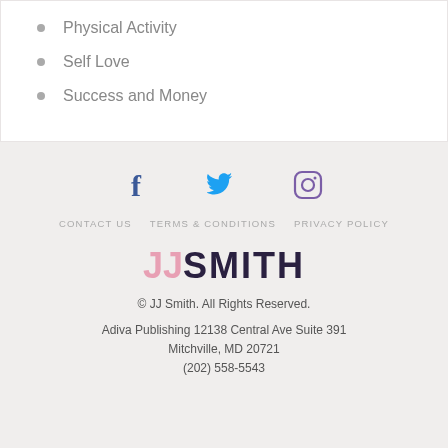Physical Activity
Self Love
Success and Money
[Figure (infographic): Social media icons: Facebook (f), Twitter (bird), Instagram (camera outline)]
CONTACT US   TERMS & CONDITIONS   PRIVACY POLICY
[Figure (logo): JJ SMITH logo — JJ in pink, SMITH in dark navy]
© JJ Smith. All Rights Reserved.
Adiva Publishing 12138 Central Ave Suite 391 Mitchville, MD 20721
(202) 558-5543